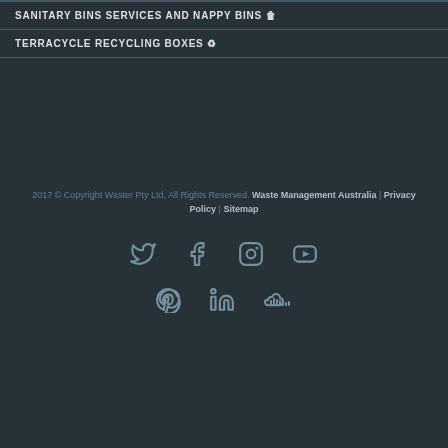SANITARY BINS SERVICES AND NAPPY BINS 🗑
TERRACYCLE RECYCLING BOXES ♻
2017 © Copyright Waster Pty Ltd, All Rights Reserved. Waste Management Australia | Privacy Policy | Sitemap
[Figure (illustration): Social media icons row 1: Twitter, Facebook, Instagram, YouTube]
[Figure (illustration): Social media icons row 2: Pinterest, LinkedIn, SoundCloud]